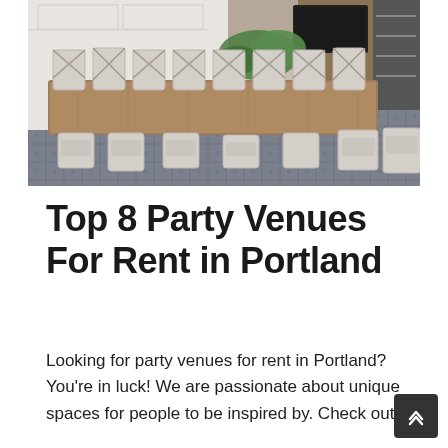[Figure (photo): Interior photo of a long wooden dining table with whitewashed cross-back chairs on a patterned tile floor, with greenery and a fireplace/TV in the background.]
Top 8 Party Venues For Rent in Portland
Looking for party venues for rent in Portland? You're in luck! We are passionate about unique spaces for people to be inspired by. Check out...